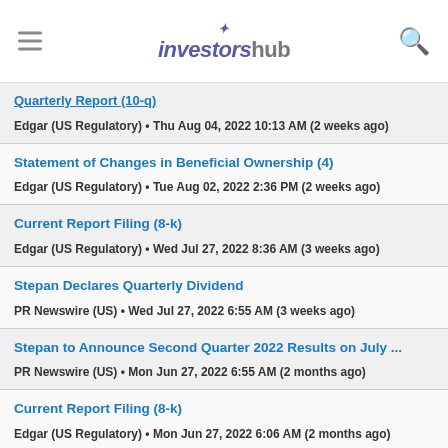InvestorsHub
Quarterly Report (10-q)
Edgar (US Regulatory) • Thu Aug 04, 2022 10:13 AM (2 weeks ago)
Statement of Changes in Beneficial Ownership (4)
Edgar (US Regulatory) • Tue Aug 02, 2022 2:36 PM (2 weeks ago)
Current Report Filing (8-k)
Edgar (US Regulatory) • Wed Jul 27, 2022 8:36 AM (3 weeks ago)
Stepan Declares Quarterly Dividend
PR Newswire (US) • Wed Jul 27, 2022 6:55 AM (3 weeks ago)
Stepan to Announce Second Quarter 2022 Results on July ...
PR Newswire (US) • Mon Jun 27, 2022 6:55 AM (2 months ago)
Current Report Filing (8-k)
Edgar (US Regulatory) • Mon Jun 27, 2022 6:06 AM (2 months ago)
Stepan Company Executes $450 Million Credit Facility Agre...